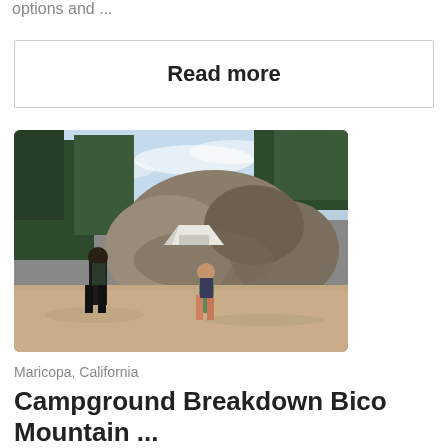options and ...
Read more
[Figure (photo): Two people with backpacks standing on a dirt trail in front of large boulders and pine trees, with a white tent visible between the rocks. Outdoor/hiking/camping scene.]
Maricopa, California
Campground Breakdown Bico Mountain ...